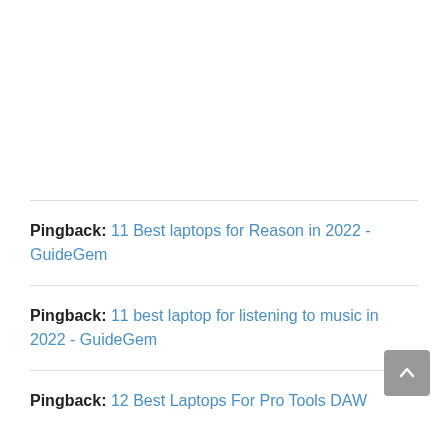Pingback: 11 Best laptops for Reason in 2022 - GuideGem
Pingback: 11 best laptop for listening to music in 2022 - GuideGem
Pingback: 12 Best Laptops For Pro Tools DAW